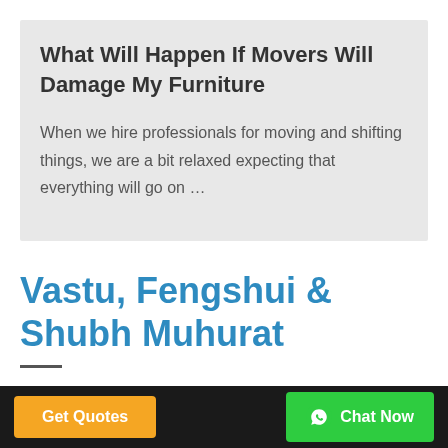What Will Happen If Movers Will Damage My Furniture
When we hire professionals for moving and shifting things, we are a bit relaxed expecting that everything will go on …
Vastu, Fengshui & Shubh Muhurat
Get Quotes | Chat Now